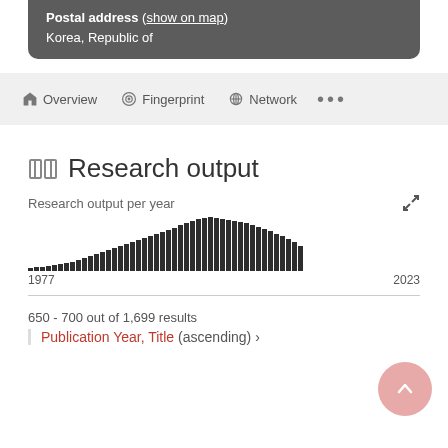Postal address (show on map)
Korea, Republic of
Overview   Fingerprint   Network   ...
Research output
[Figure (bar-chart): Research output per year]
650 - 700 out of 1,699 results
Publication Year, Title (ascending) ›